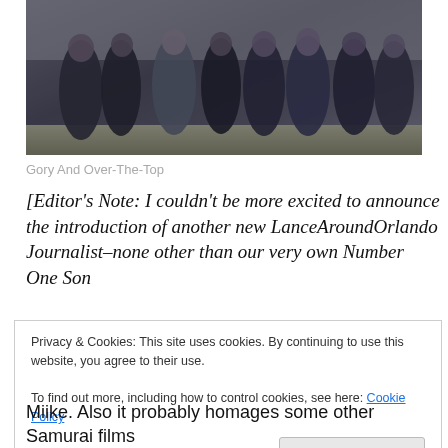[Figure (photo): Group of figures in dark grey/blue robes or cloaks standing together in an outdoor scene, appearing to be from a samurai film]
Gory And Over-The-Top
[Editor's Note: I couldn't be more excited to announce the introduction of another new LanceAroundOrlando Journalist–none other than our very own Number One Son
Privacy & Cookies: This site uses cookies. By continuing to use this website, you agree to their use.
To find out more, including how to control cookies, see here: Cookie Policy
Close and accept
Miike. Also it probably homages some other Samurai films